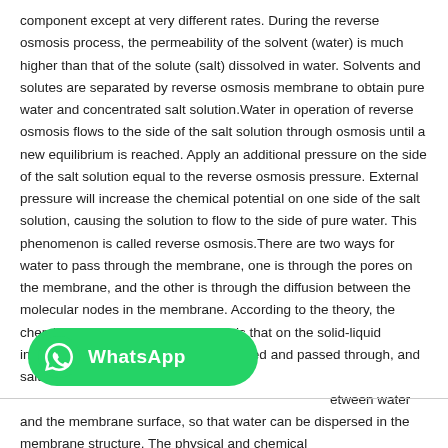component except at very different rates. During the reverse osmosis process, the permeability of the solvent (water) is much higher than that of the solute (salt) dissolved in water. Solvents and solutes are separated by reverse osmosis membrane to obtain pure water and concentrated salt solution.Water in operation of reverse osmosis flows to the side of the salt solution through osmosis until a new equilibrium is reached. Apply an additional pressure on the side of the salt solution equal to the reverse osmosis pressure. External pressure will increase the chemical potential on one side of the salt solution, causing the solution to flow to the side of pure water. This phenomenon is called reverse osmosis.There are two ways for water to pass through the membrane, one is through the pores on the membrane, and the other is through the diffusion between the molecular nodes in the membrane. According to the theory, the chemical property of the membrane is that on the solid-liquid interface, water is preferentially adsorbed and passed through, and salt is intercepted. There is a w[WhatsApp badge]etween water and the membrane surface, so that water can be dispersed in the membrane structure. The physical and chemical
[Figure (other): WhatsApp promotional badge/button — green rounded rectangle with WhatsApp logo icon and text 'WhatsApp']